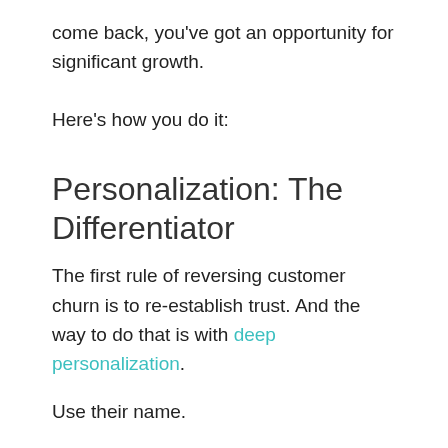come back, you've got an opportunity for significant growth.
Here's how you do it:
Personalization: The Differentiator
The first rule of reversing customer churn is to re-establish trust. And the way to do that is with deep personalization.
Use their name.
Use customer browsing intent data to figure out what each specific customer looked at or